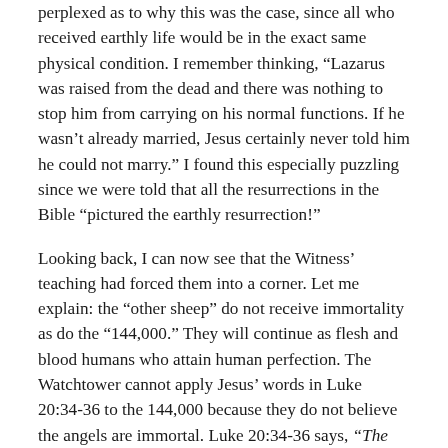perplexed as to why this was the case, since all who received earthly life would be in the exact same physical condition. I remember thinking, “Lazarus was raised from the dead and there was nothing to stop him from carrying on his normal functions. If he wasn’t already married, Jesus certainly never told him he could not marry.” I found this especially puzzling since we were told that all the resurrections in the Bible “pictured the earthly resurrection!”
Looking back, I can now see that the Witness’ teaching had forced them into a corner. Let me explain: the “other sheep” do not receive immortality as do the “144,000.” They will continue as flesh and blood humans who attain human perfection. The Watchtower cannot apply Jesus’ words in Luke 20:34-36 to the 144,000 because they do not believe the angels are immortal. Luke 20:34-36 says, “The children of this system of things marry and are given in marriage, but those who have been counted worthy of gaining that system of things and the resurrection from the dead neither marry nor are given in marriage. In fact, neither can they die anymore, for they are God’s children by being children of the resurrection.” Applying Luke 20